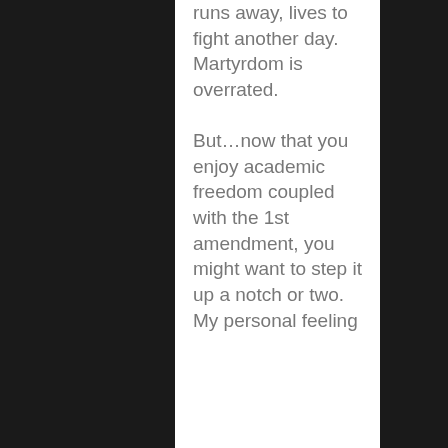runs away, lives to fight another day. Martyrdom is overrated.

But...now that you enjoy academic freedom coupled with the 1st amendment, you might want to step it up a notch or two. My personal feeling